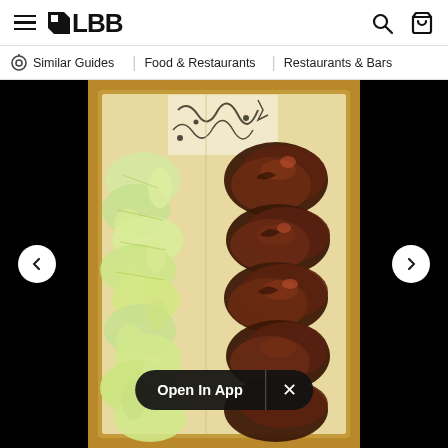LBB — hamburger menu, logo, search icon, bag icon
Similar Guides   Food & Restaurants   Restaurants & Bars
[Figure (photo): Top-down view of a food box containing shredded cabbage salad on the left and grilled/roasted chicken pieces on the right, served in a paper-lined box with black-and-white decorative pattern. Black bars on left and right sides of the image frame. Navigation arrows (< >) on sides. 'Open In App' pill button overlaid at bottom center.]